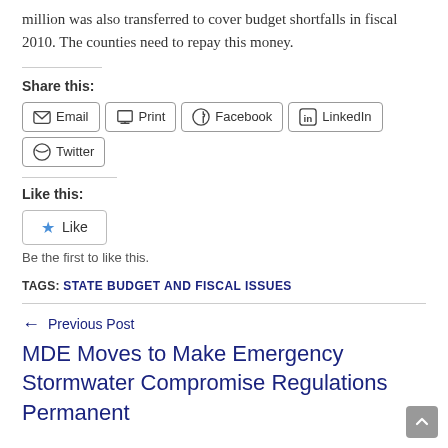million was also transferred to cover budget shortfalls in fiscal 2010.  The counties need to repay this money.
Share this:
Email  Print  Facebook  LinkedIn  Twitter
Like this:
Like
Be the first to like this.
TAGS: STATE BUDGET AND FISCAL ISSUES
← Previous Post
MDE Moves to Make Emergency Stormwater Compromise Regulations Permanent